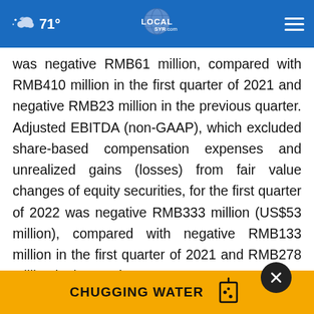71° LOCALsyr.com
was negative RMB61 million, compared with RMB410 million in the first quarter of 2021 and negative RMB23 million in the previous quarter. Adjusted EBITDA (non-GAAP), which excluded share-based compensation expenses and unrealized gains (losses) from fair value changes of equity securities, for the first quarter of 2022 was negative RMB333 million (US$53 million), compared with negative RMB133 million in the first quarter of 2021 and RMB278 million in the previous quarter. ... Legacy Huazhu segment (non-GAAP) for the
[Figure (screenshot): Yellow advertisement bar at bottom reading CHUGGING WATER with a cup icon, and a dark circular close button overlay]